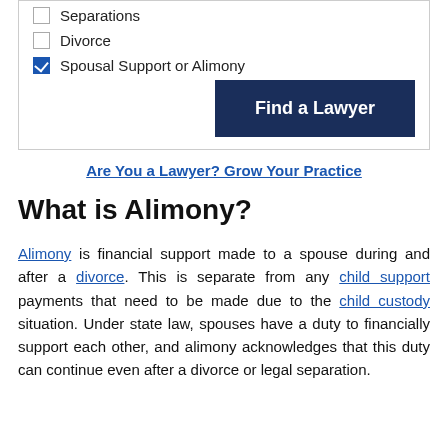Separations
Divorce
Spousal Support or Alimony
Find a Lawyer
Are You a Lawyer? Grow Your Practice
What is Alimony?
Alimony is financial support made to a spouse during and after a divorce. This is separate from any child support payments that need to be made due to the child custody situation. Under state law, spouses have a duty to financially support each other, and alimony acknowledges that this duty can continue even after a divorce or legal separation.